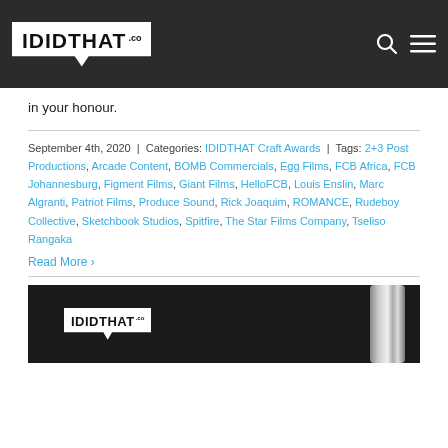IDIDTHAT .co
in your honour.
September 4th, 2020 | Categories: IDIDTHAT Craft Awards | Tags: 2+3 Post Productions, Arcade Content, BOMB Commercials, Egg Films, FCB Africa, FCB Johannesburg, Figment Films, Giant Films, HelloFCB, Louis Enslin, Marc Algranti, Patriot Films, Produce Sound, Rick Joaquim, ROMANCE, Rudeboy Collective, Sketchbook Studios, Spitfire, The Star Films Company, Tseliso Rangaka
Read More
[Figure (photo): Dark background image showing the IDIDTHAT.co logo on the left and a chrome/metallic object on the right]